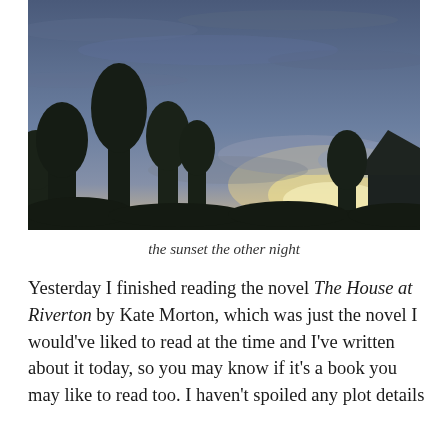[Figure (photo): A dusk/twilight photograph showing tree silhouettes against a blue-grey sky with a faint orange-pink glow near the horizon, and a house roof visible on the right.]
the sunset the other night
Yesterday I finished reading the novel The House at Riverton by Kate Morton, which was just the novel I would've liked to read at the time and I've written about it today, so you may know if it's a book you may like to read too. I haven't spoiled any plot details